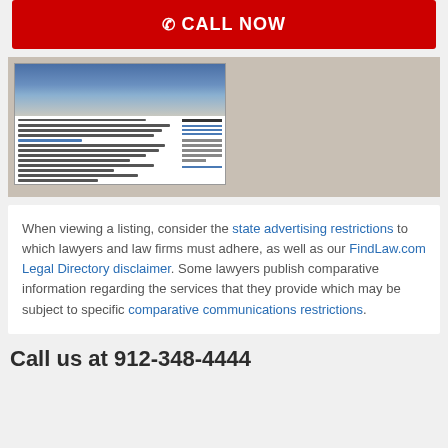[Figure (other): Red CALL NOW button with phone icon]
[Figure (screenshot): Screenshot of a law firm website showing a legal directory listing page with navigation, text content, practice areas, and office location information]
When viewing a listing, consider the state advertising restrictions to which lawyers and law firms must adhere, as well as our FindLaw.com Legal Directory disclaimer. Some lawyers publish comparative information regarding the services that they provide which may be subject to specific comparative communications restrictions.
Call us at 912-348-4444